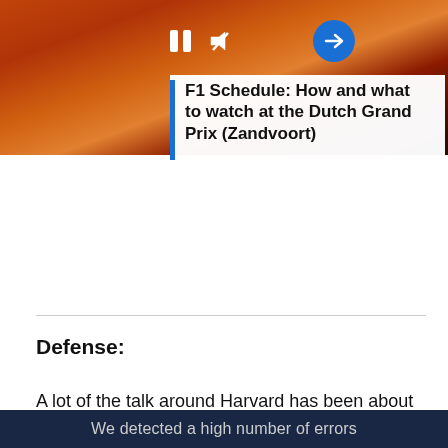[Figure (screenshot): Video thumbnail showing a crowd of fans in orange colors with video control icons (pause, mute, arrow button) overlaid, and a blue vertical bar with the title 'F1 Schedule: How and what to watch at the Dutch Grand Prix (Zandvoort)' on a white background overlay.]
Defense:
A lot of the talk around Harvard has been about freshman Stephen Jahelka. The 6'0", 195-lb long pole comes to the Crimson with a long list of accolades and a ton of talent. The number six recruit in the nation (according to Inside Lacrosse) and two time Under Armour All-American will step into one of the three slots on defense.
We detected a high number of errors